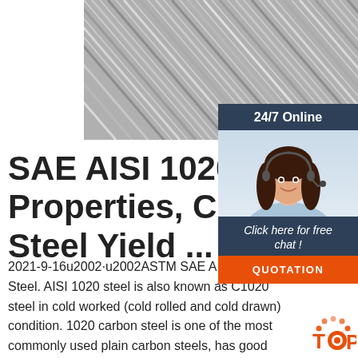[Figure (photo): Close-up photo of steel wire rods or drawn steel bars arranged diagonally, showing metallic silver/grey striped texture]
[Figure (infographic): 24/7 Online chat widget with dark blue header reading '24/7 Online', photo of a smiling woman with headset, 'Click here for free chat!' text, and orange QUOTATION button]
SAE AISI 1020 Steel Properties, C1020 Carbon Steel Yield ...
2021-9-16u2002·u2002ASTM SAE AISI 1020 Carbon Steel. AISI 1020 steel is also known as C1020 steel in cold worked (cold rolled and cold drawn) condition. 1020 carbon steel is one of the most commonly used plain carbon steels, has good machinability and weldability. SAE AISI 1020 mild steel can be hot rolled or cold drawn, but it is usually in turned and polished or cold ...
[Figure (logo): Orange and red 'TOP' button logo with dotted arc above the text]